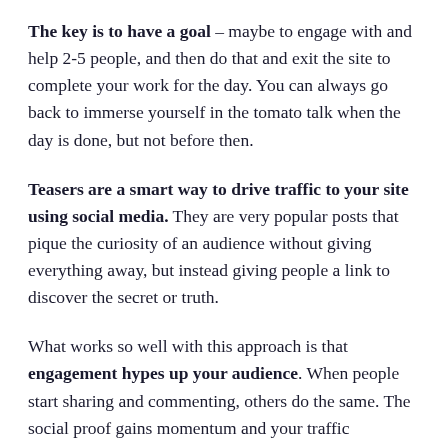The key is to have a goal – maybe to engage with and help 2-5 people, and then do that and exit the site to complete your work for the day. You can always go back to immerse yourself in the tomato talk when the day is done, but not before then.
Teasers are a smart way to drive traffic to your site using social media. They are very popular posts that pique the curiosity of an audience without giving everything away, but instead giving people a link to discover the secret or truth.
What works so well with this approach is that engagement hypes up your audience. When people start sharing and commenting, others do the same. The social proof gains momentum and your traffic increases.
Make sure you're participating on competitors' accounts, too. You can add comments and tips, and respond to their posts. On YouTube, people make response videos. On TikTok, they do what's called a Duet where the person splits and...